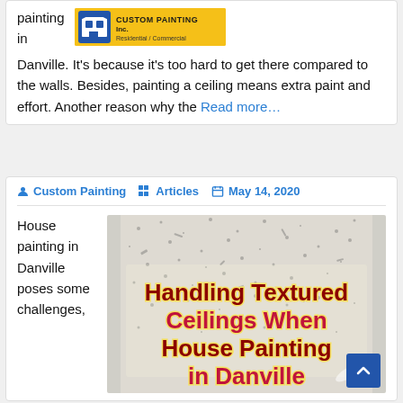painting in
[Figure (logo): Custom Painting Inc. logo with blue building icon on yellow/gold background, text 'CUSTOM PAINTING Inc.' and 'Residential / Commercial']
Danville. It's because it's too hard to get there compared to the walls. Besides, painting a ceiling means extra paint and effort. Another reason why the Read more…
Custom Painting  Articles  May 14, 2020
House painting in Danville poses some challenges,
[Figure (photo): Article image titled 'Handling Textured Ceilings When House Painting in Danville' with red bold text on a textured speckled background with a paintbrush visible]